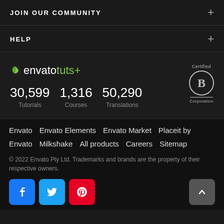JOIN OUR COMMUNITY
HELP
[Figure (logo): Envato tuts+ logo with green leaf icon]
30,599 Tutorials   1,316 Courses   50,290 Translations
[Figure (logo): Certified B Corporation badge]
Envato  Envato Elements  Envato Market  Placeit by Envato  Milkshake  All products  Careers  Sitemap
© 2022 Envato Pty Ltd. Trademarks and brands are the property of their respective owners.
[Figure (illustration): Facebook, Twitter, and Pinterest social media icons buttons]